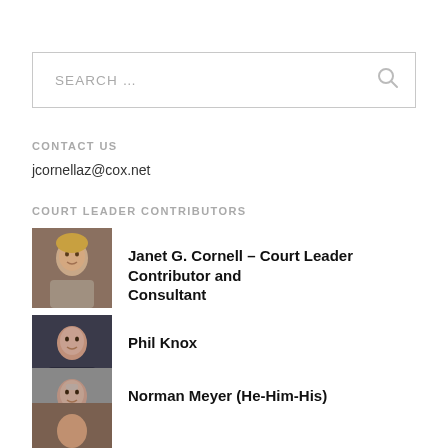SEARCH ...
CONTACT US
jcornellaz@cox.net
COURT LEADER CONTRIBUTORS
Janet G. Cornell – Court Leader Contributor and Consultant
Phil Knox
Norman Meyer (He-Him-His)